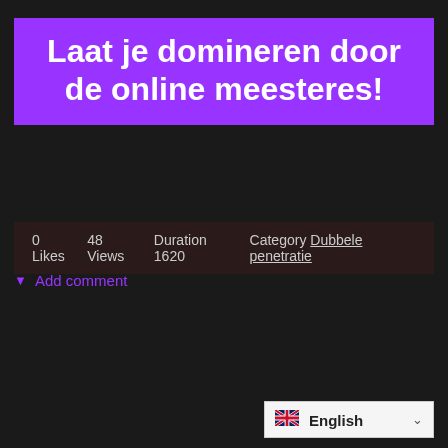Laat je domineren door de online meesteres!
0 Likes   48 Views  Duration 1620  Category Dubbele penetratie
▼ Add comment
[Figure (screenshot): Language selector widget showing UK flag and 'English' label with dropdown chevron]